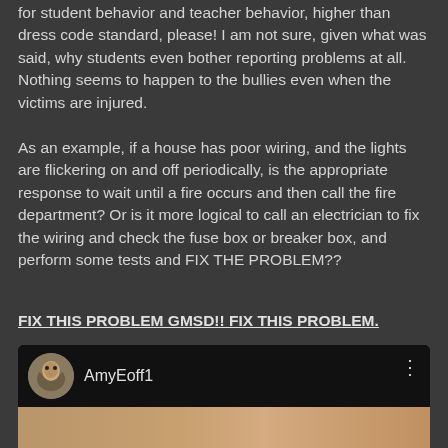for student behavior and teacher behavior, higher than dress code standard, please! I am not sure, given what was said, why students even bother reporting problems at all. Nothing seems to happen to the bullies even when the victims are injured.

As an example, if a house has poor wiring, and the lights are flickering on and off periodically, is the appropriate response to wait until a fire occurs and then call the fire department? Or is it more logical to call an electrician to fix the wiring and check the fuse box or breaker box, and perform some tests and FIX THE PROBLEM??
FIX THIS PROBLEM GMSD!! FIX THIS PROBLEM.
[Figure (screenshot): Social media post header showing a circular avatar photo of a bird/hawk, username 'AmyEoff1', and a three-dot menu icon, on a dark background with a brick wall image strip at the bottom]